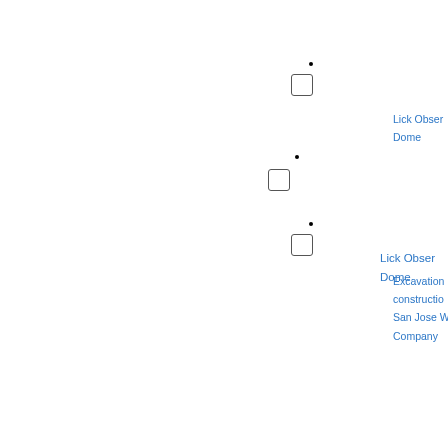[Figure (other): Checkbox with dot marker for Lick Observatory Dome item]
Lick Observatory Dome
[Figure (other): Checkbox with dot marker for Excavation construction San Jose Water Company item]
Excavation construction San Jose Water Company